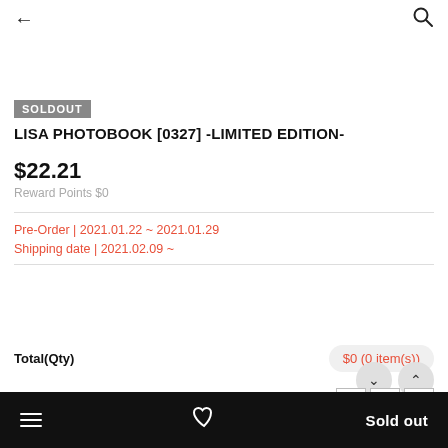← [back] [search]
SOLDOUT
LISA PHOTOBOOK [0327] -LIMITED EDITION-
$22.21
Reward Points $0
Pre-Order | 2021.01.22 ~ 2021.01.29
Shipping date | 2021.02.09 ~
Total(Qty)
$0 (0 item(s))
Quantity
☰  ♡  Sold out